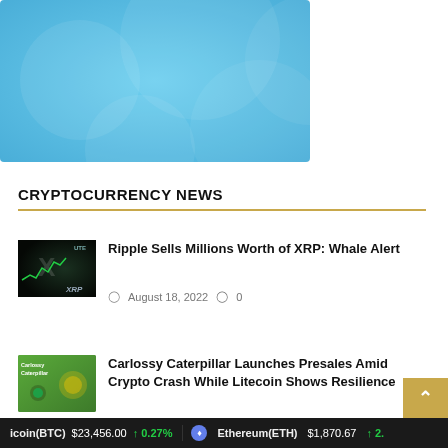[Figure (illustration): Light blue decorative hero banner with abstract circular shapes in varying shades of blue]
CRYPTOCURRENCY NEWS
[Figure (photo): Dark background with XRP logo and green candlestick chart]
Ripple Sells Millions Worth of XRP: Whale Alert
August 18, 2022  0
[Figure (illustration): Green background with Carlossy Caterpillar logo and coin imagery]
Carlossy Caterpillar Launches Presales Amid Crypto Crash While Litecoin Shows Resilience
Bitcoin(BTC) $23,456.00 ↑ 0.27%  Ethereum(ETH) $1,870.67 ↑ 2.